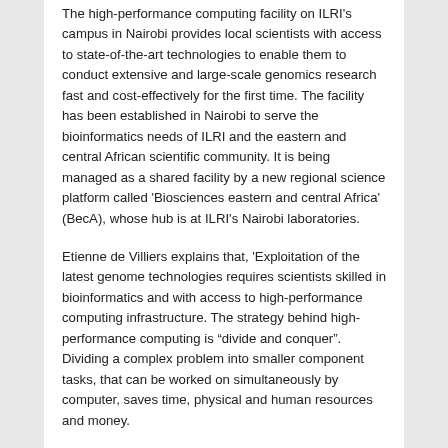The high-performance computing facility on ILRI's campus in Nairobi provides local scientists with access to state-of-the-art technologies to enable them to conduct extensive and large-scale genomics research fast and cost-effectively for the first time. The facility has been established in Nairobi to serve the bioinformatics needs of ILRI and the eastern and central African scientific community. It is being managed as a shared facility by a new regional science platform called 'Biosciences eastern and central Africa' (BecA), whose hub is at ILRI's Nairobi laboratories.
Etienne de Villiers explains that, 'Exploitation of the latest genome technologies requires scientists skilled in bioinformatics and with access to high-performance computing infrastructure. The strategy behind high-performance computing is "divide and conquer". Dividing a complex problem into smaller component tasks, that can be worked on simultaneously by computer, saves time, physical and human resources and money.
'Bioinformatics is a relatively new specialist area. We